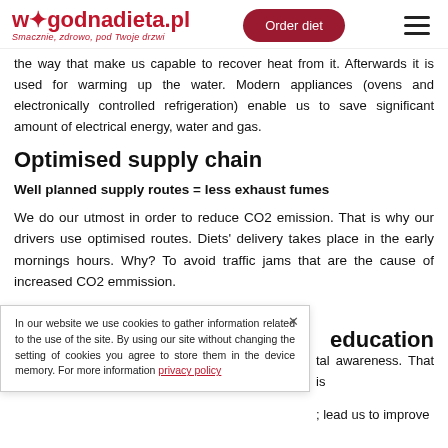wygodnadieta.pl — Smacznie, zdrowo, pod Twoje drzwi | Order diet | [hamburger menu]
the way that make us capable to recover heat from it. Afterwards it is used for warming up the water. Modern appliances (ovens and electronically controlled refrigeration) enable us to save significant amount of electrical energy, water and gas.
Optimised supply chain
Well planned supply routes = less exhaust fumes
We do our utmost in order to reduce CO2 emission. That is why our drivers use optimised routes. Diets' delivery takes place in the early mornings hours. Why? To avoid traffic jams that are the cause of increased CO2 emmission.
In our website we use cookies to gather information related to the use of the site. By using our site without changing the setting of cookies you agree to store them in the device memory. For more information privacy policy
education
tal awareness. That is
; lead us to improve